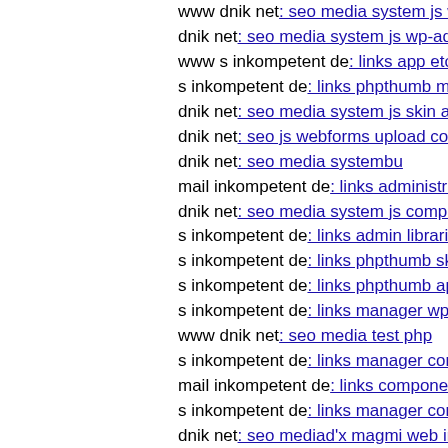www dnik net: seo media system js wp-admin includes pl…
dnik net: seo media system js wp-admin includes plugins c…
www s inkompetent de: links app etc skin jwallpapers files…
s inkompetent de: links phpthumb media style php'
dnik net: seo media system js skin administrator administra…
dnik net: seo js webforms upload components magmi conf…
dnik net: seo media systembu
mail inkompetent de: links administrator components com…
dnik net: seo media system js components com jmultimedi…
s inkompetent de: links admin libraries phputf8 dnik net
s inkompetent de: links phpthumb skin components com b…
s inkompetent de: links phpthumb apil'blvig
s inkompetent de: links manager wp-content plugins wp-fi…
www dnik net: seo media test php
s inkompetent de: links manager components com foxcont…
mail inkompetent de: links components com civicrm civic…
s inkompetent de: links manager components mail inkomp…
dnik net: seo mediad'x magmi web index php
s inkompetent de: links admin administrator administrator
langhaarig com: how to
dnik net: seo media system js media skin portal